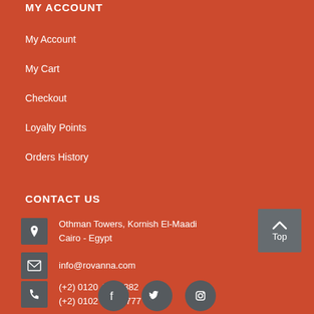MY ACCOUNT
My Account
My Cart
Checkout
Loyalty Points
Orders History
CONTACT US
Othman Towers, Kornish El-Maadi
Cairo - Egypt
info@rovanna.com
(+2) 0120 400 2882
(+2) 0102 99 22 777
[Figure (infographic): Social media icons: Facebook, Twitter, another icon]